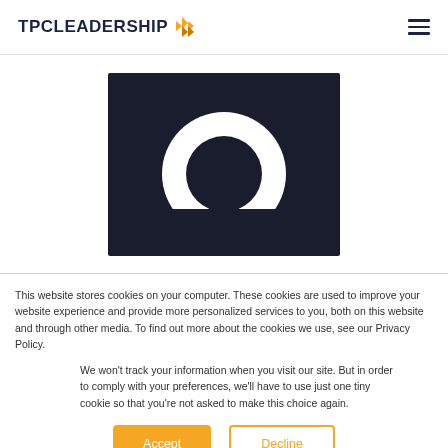TPC LEADERSHIP [logo with arrows]
[Figure (logo): TPC Leadership logo partial image — black rectangle containing a white circle/ring graphic, centered on white background]
This website stores cookies on your computer. These cookies are used to improve your website experience and provide more personalized services to you, both on this website and through other media. To find out more about the cookies we use, see our Privacy Policy.
We won't track your information when you visit our site. But in order to comply with your preferences, we'll have to use just one tiny cookie so that you're not asked to make this choice again.
Accept   Decline